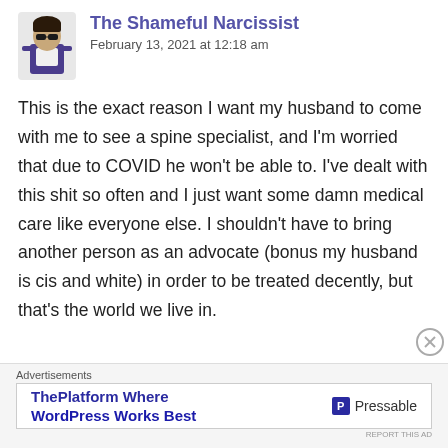[Figure (illustration): Avatar illustration of The Shameful Narcissist — cartoon figure in purple and white clothing with sunglasses]
The Shameful Narcissist
February 13, 2021 at 12:18 am
This is the exact reason I want my husband to come with me to see a spine specialist, and I'm worried that due to COVID he won't be able to. I've dealt with this shit so often and I just want some damn medical care like everyone else. I shouldn't have to bring another person as an advocate (bonus my husband is cis and white) in order to be treated decently, but that's the world we live in.
Advertisements
ThePlatform Where WordPress Works Best  |  Pressable